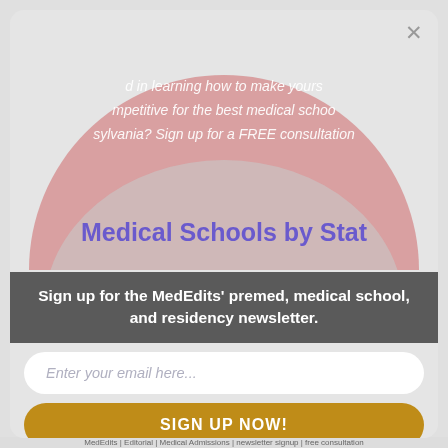[Figure (illustration): Modal popup overlay on a webpage background. Background shows a dome/circle shape in pink/salmon color with italic white text partially visible: 'd in learning how to make yours...mpetitive for the best medical schoo...sylvania? Sign up for a FREE consultation'. Behind dome in blue-purple text partially visible: 'ledical Schools by Stat'. Modal box contains a darker dome shape at top, a dark gray banner with newsletter signup text, an email input field, and a gold 'SIGN UP NOW!' button.]
d in learning how to make yours... mpetitive for the best medical schoo... sylvania? Sign up for a FREE consultation
Medical Schools by Stat
Sign up for the MedEdits' premed, medical school, and residency newsletter.
Enter your email here...
SIGN UP NOW!